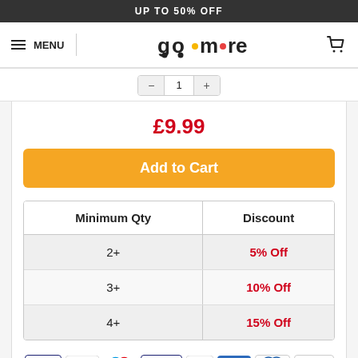UP TO 50% OFF
[Figure (logo): gogomore logo with hamburger menu and shopping cart icon]
£9.99
Add to Cart
| Minimum Qty | Discount |
| --- | --- |
| 2+ | 5% Off |
| 3+ | 10% Off |
| 4+ | 15% Off |
[Figure (other): Payment method icons: Visa, Mastercard, Maestro, Visa Electron, JCB, American Express, Diners Club, Discover]